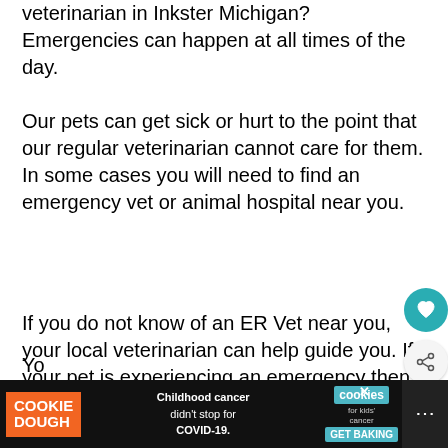veterinarian in Inkster Michigan? Emergencies can happen at all times of the day.
Our pets can get sick or hurt to the point that our regular veterinarian cannot care for them. In some cases you will need to find an emergency vet or animal hospital near you.
If you do not know of an ER Vet near you, your local veterinarian can help guide you. If your pet is experiencing an emergency then time is of the essence.
Yo...
[Figure (screenshot): Cookie Dough advertisement banner at the bottom. Orange Cookie Dough logo on left, text 'Childhood cancer didn't stop for COVID-19.' in center, teal cookies for kids' cancer logo and GET BAKING button on right.]